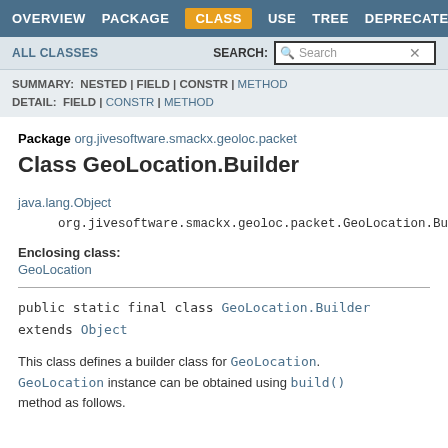OVERVIEW  PACKAGE  CLASS  USE  TREE  DEPRECATED
ALL CLASSES   SEARCH:  [Search]
SUMMARY: NESTED | FIELD | CONSTR | METHOD
DETAIL: FIELD | CONSTR | METHOD
Package org.jivesoftware.smackx.geoloc.packet
Class GeoLocation.Builder
java.lang.Object
    org.jivesoftware.smackx.geoloc.packet.GeoLocation.Build
Enclosing class:
GeoLocation
public static final class GeoLocation.Builder
extends Object
This class defines a builder class for GeoLocation. GeoLocation instance can be obtained using build() method as follows.